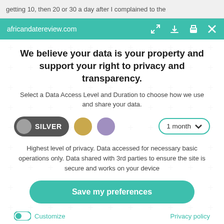getting 10, then 20 or 30 a day after I complained to the
[Figure (screenshot): Browser toolbar showing africandatereview.com URL with teal background and icons for fullscreen, download, print, and close]
We believe your data is your property and support your right to privacy and transparency.
Select a Data Access Level and Duration to choose how we use and share your data.
[Figure (infographic): Privacy level selector showing Silver pill button (dark grey), gold circle, purple circle, and 1 month dropdown]
Highest level of privacy. Data accessed for necessary basic operations only. Data shared with 3rd parties to ensure the site is secure and works on your device
[Figure (infographic): Save my preferences teal rounded button]
Customize
Privacy policy